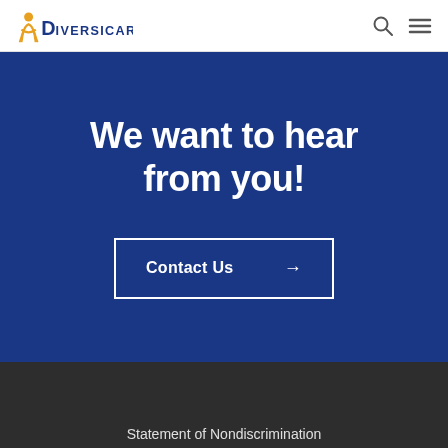Diversicare
We want to hear from you!
Contact Us →
Statement of Nondiscrimination